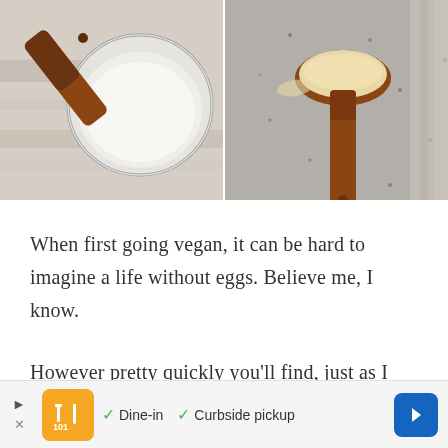[Figure (photo): Two side-by-side food photos: left shows a glass bowl of white substance (possibly coconut butter or similar) with a wooden spatula, viewed from above on a striped cloth; right shows a wooden measuring spoon filled with beige powder (possibly protein powder or flour) on a gray speckled surface.]
When first going vegan, it can be hard to imagine a life without eggs. Believe me, I know.
However pretty quickly you'll find, just as I did, that
[Figure (infographic): Advertisement bar showing: play/pause and close controls, an orange logo with fork/knife icon, checkmarks for 'Dine-in' and 'Curbside pickup', and a blue navigation arrow button.]